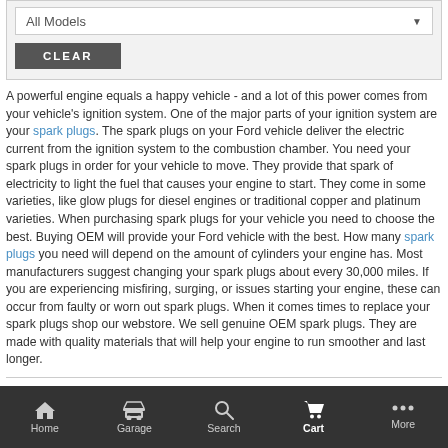All Models
CLEAR
A powerful engine equals a happy vehicle - and a lot of this power comes from your vehicle's ignition system. One of the major parts of your ignition system are your spark plugs. The spark plugs on your Ford vehicle deliver the electric current from the ignition system to the combustion chamber. You need your spark plugs in order for your vehicle to move. They provide that spark of electricity to light the fuel that causes your engine to start. They come in some varieties, like glow plugs for diesel engines or traditional copper and platinum varieties. When purchasing spark plugs for your vehicle you need to choose the best. Buying OEM will provide your Ford vehicle with the best. How many spark plugs you need will depend on the amount of cylinders your engine has. Most manufacturers suggest changing your spark plugs about every 30,000 miles. If you are experiencing misfiring, surging, or issues starting your engine, these can occur from faulty or worn out spark plugs. When it comes times to replace your spark plugs shop our webstore. We sell genuine OEM spark plugs. They are made with quality materials that will help your engine to run smoother and last longer.
Home  Garage  Search  Cart  More